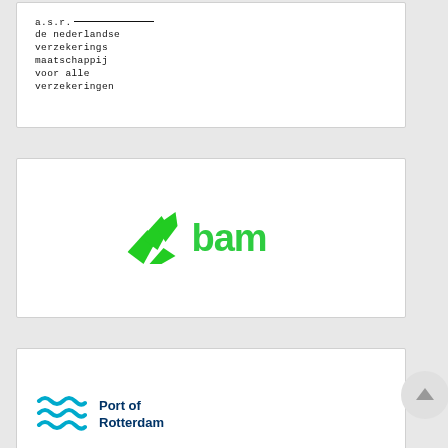[Figure (logo): ASR - a.s.r. de nederlandse verzekerings maatschappij voor alle verzekeringen logo in monospace font with overline]
[Figure (logo): BAM logo - green arrow/wing icon with bold green text 'bam']
[Figure (logo): Port of Rotterdam logo - cyan wave icon with dark blue bold text 'Port of Rotterdam']